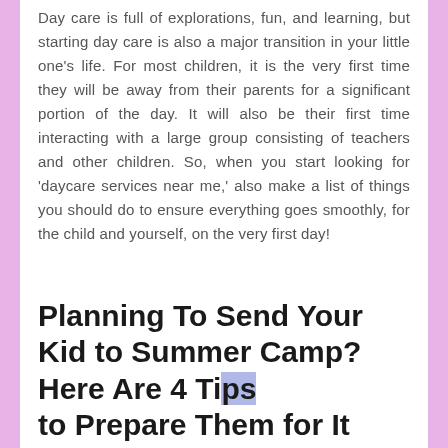Day care is full of explorations, fun, and learning, but starting day care is also a major transition in your little one's life. For most children, it is the very first time they will be away from their parents for a significant portion of the day. It will also be their first time interacting with a large group consisting of teachers and other children. So, when you start looking for 'daycare services near me,' also make a list of things you should do to ensure everything goes smoothly, for the child and yourself, on the very first day!
Read more
Planning To Send Your Kid to Summer Camp? Here Are 4 Tips to Prepare Them for It